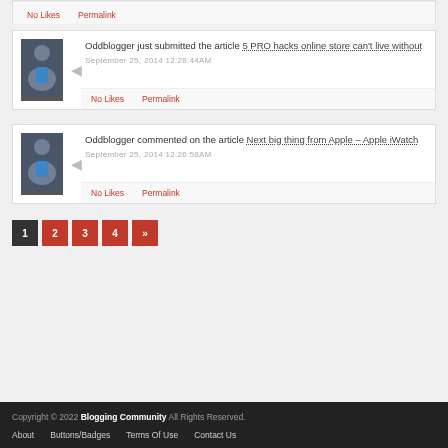No Likes   Permalink
Oddblogger just submitted the article 5 PRO hacks online store can't live without
September 25, 2014 12:28:44AM
No Likes   Permalink
Oddblogger commented on the article Next big thing from Apple – Apple iWatch
September 25, 2014 12:26:58AM
No Likes   Permalink
1
2
3
4
»
Copyright © 2022 Blogging Community All Rights Reserved. About  Buttons/Badges  Terms Of Use  Contact Us